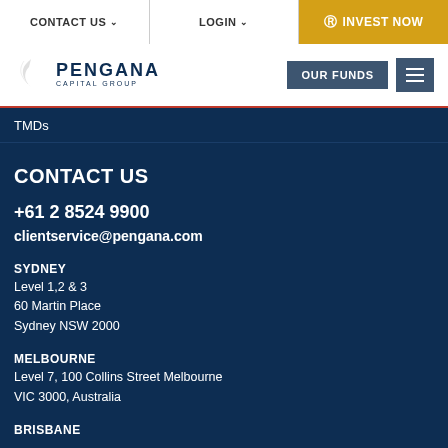CONTACT US | LOGIN | INVEST NOW
[Figure (logo): Pengana Capital Group logo with bird icon]
TMDs
CONTACT US
+61 2 8524 9900
clientservice@pengana.com
SYDNEY
Level 1,2 & 3
60 Martin Place
Sydney NSW 2000
MELBOURNE
Level 7, 100 Collins Street Melbourne
VIC 3000, Australia
BRISBANE